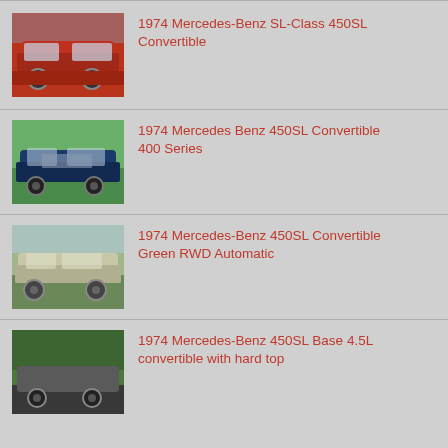1974 Mercedes-Benz SL-Class 450SL Convertible
1974 Mercedes Benz 450SL Convertible 400 Series
1974 Mercedes-Benz 450SL Convertible Green RWD Automatic
1974 Mercedes-Benz 450SL Base 4.5L convertible with hard top